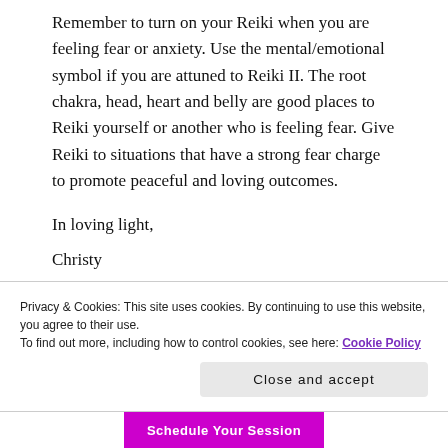Remember to turn on your Reiki when you are feeling fear or anxiety. Use the mental/emotional symbol if you are attuned to Reiki II. The root chakra, head, heart and belly are good places to Reiki yourself or another who is feeling fear. Give Reiki to situations that have a strong fear charge to promote peaceful and loving outcomes.
In loving light,
Christy
[Figure (photo): Partial circular photo of a person (showing top of head with hair), cropped at bottom of page]
Privacy & Cookies: This site uses cookies. By continuing to use this website, you agree to their use.
To find out more, including how to control cookies, see here: Cookie Policy
Close and accept
Schedule Your Session